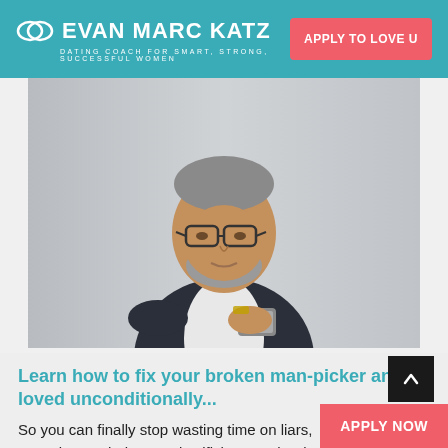EVAN MARC KATZ — DATING COACH FOR SMART, STRONG, SUCCESSFUL WOMEN | APPLY TO LOVE U
[Figure (photo): A middle-aged man with grey beard and glasses wearing a dark blazer and white shirt, looking down at his smartphone, against a light grey background.]
Learn how to fix your broken man-picker and be loved unconditionally...
So you can finally stop wasting time on liars, commitmentphobes, and selfish men who don't communicate. Soon, you'll start attract